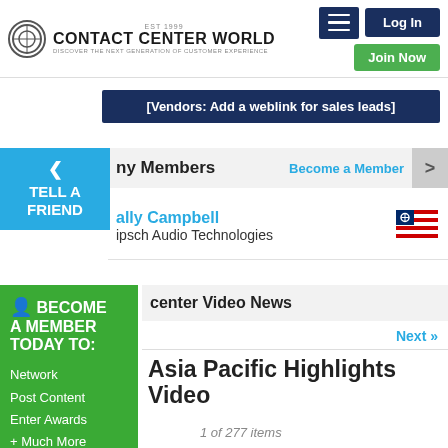Contact Center World — Discover The Next Generation Of Customer Experience
[Vendors: Add a weblink for sales leads]
TELL A FRIEND
ny Members
Become a Member
ally Campbell
ipsch Audio Technologies
BECOME A MEMBER TODAY TO:
Network
Post Content
Enter Awards
+ Much More
center Video News
Next »
Asia Pacific Highlights Video
1 of 277 items